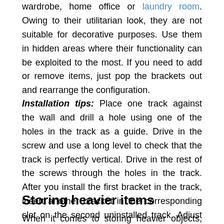wardrobe, home office or laundry room. Owing to their utilitarian look, they are not suitable for decorative purposes. Use them in hidden areas where their functionality can be exploited to the most. If you need to add or remove items, just pop the brackets out and rearrange the configuration.
Installation tips: Place one track against the wall and drill a hole using one of the holes in the track as a guide. Drive in the screw and use a long level to check that the track is perfectly vertical. Drive in the rest of the screws through the holes in the track. After you install the first bracket in the track, insert another bracket in the corresponding slot on the second uninstalled track. Adjust the second track to make the brackets even and install the second track in the same way.
Storing heavier items
When it comes to storing heavier objects, bracket shelves